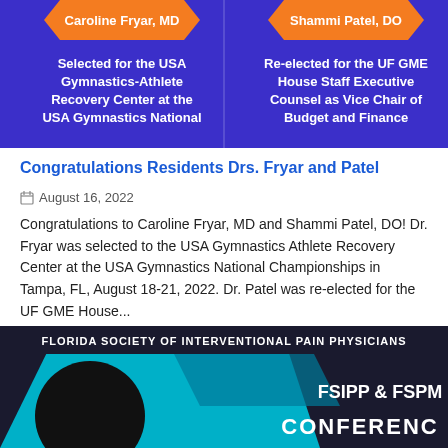[Figure (photo): Two-panel blue/purple graphic with orange banners. Left: Caroline Fryar, MD - Selected for the USA Gymnastics-Athlete Recovery Center at the USA Gymnastics National. Right: Shammi Patel, DO - Re-elected for the UF GME House Staff Executive Counsel as Vice Chair of Budget and Finance.]
Congratulations Residents Drs. Fryar and Patel
August 16, 2022
Congratulations to Caroline Fryar, MD and Shammi Patel, DO! Dr. Fryar was selected to the USA Gymnastics Athlete Recovery Center at the USA Gymnastics National Championships in Tampa, FL, August 18-21, 2022. Dr. Patel was re-elected for the UF GME House...
[Figure (photo): Bottom banner for Florida Society of Interventional Pain Physicians showing FSIPP & FSPM CONFERENCE text with teal/dark graphic design and a person silhouette.]